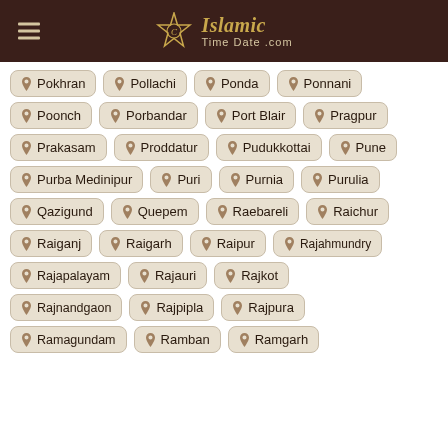Islamic Time Date .com
Pokhran
Pollachi
Ponda
Ponnani
Poonch
Porbandar
Port Blair
Pragpur
Prakasam
Proddatur
Pudukkottai
Pune
Purba Medinipur
Puri
Purnia
Purulia
Qazigund
Quepem
Raebareli
Raichur
Raiganj
Raigarh
Raipur
Rajahmundry
Rajapalayam
Rajauri
Rajkot
Rajnandgaon
Rajpipla
Rajpura
Ramagundam
Ramban
Ramgarh